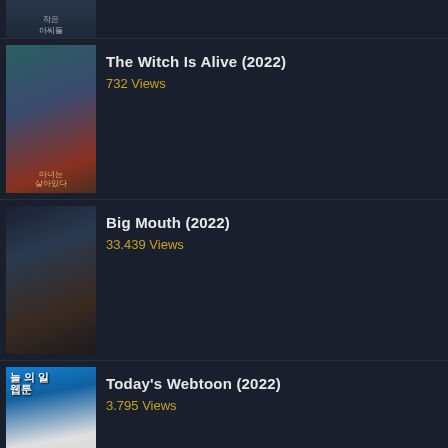[Figure (screenshot): Partial thumbnail of a Korean drama at top]
The Witch Is Alive (2022)
732 Views
Big Mouth (2022)
33.439 Views
Today's Webtoon (2022)
3.795 Views
DRAMA KOREA POPULER
Vincenzo (2021)